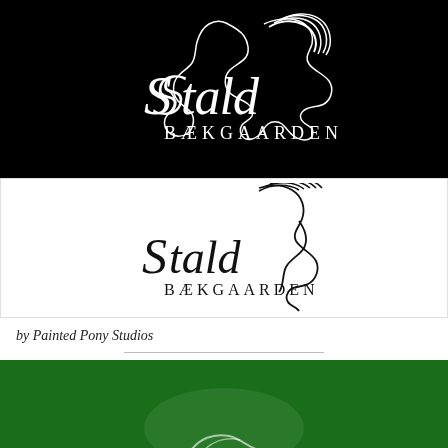[Figure (logo): Stald Bækgaarden logo on black background — white horse silhouette with flowing mane, decorative script 'Stald' and serif text 'BÆKGAARDEN' in white]
[Figure (logo): Stald Bækgaarden logo on white background — black horse silhouette with flowing mane, decorative script 'Stald' and serif text 'BÆKGAARDEN' in black]
by Painted Pony Studios
[Figure (logo): Stald Bækgaarden logo on dark green background — partially visible white/light horse silhouette]